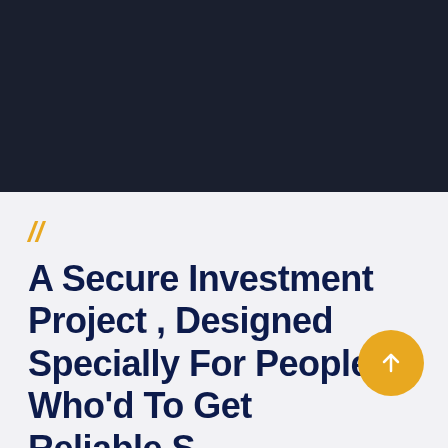[Figure (other): Dark navy/black banner background occupying the top half of the page]
//
A Secure Investment Project , Designed Specially For People Who'd To Get Reliable S...